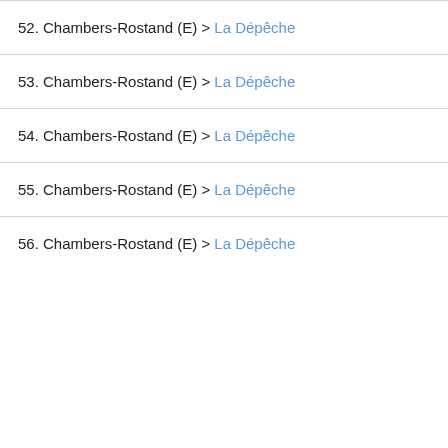52. Chambers-Rostand (E) > La Dépêche
53. Chambers-Rostand (E) > La Dépêche
54. Chambers-Rostand (E) > La Dépêche
55. Chambers-Rostand (E) > La Dépêche
56. Chambers-Rostand (E) > La Dépêche